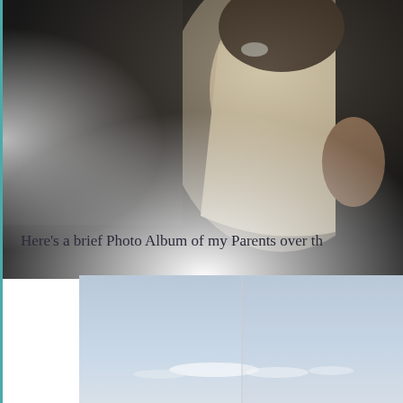[Figure (photo): Cropped photo of people at an event, showing individuals in dark and light clothing, with a vignette/fade effect at the bottom and sides. The photo is partially cropped at the top and right edges.]
Here's a brief Photo Album of my Parents over th
[Figure (photo): Outdoor photo showing a pale blue sky with faint clouds near the horizon, partially divided by a vertical line suggesting two photos side by side. The bottom portion of the image is cut off.]